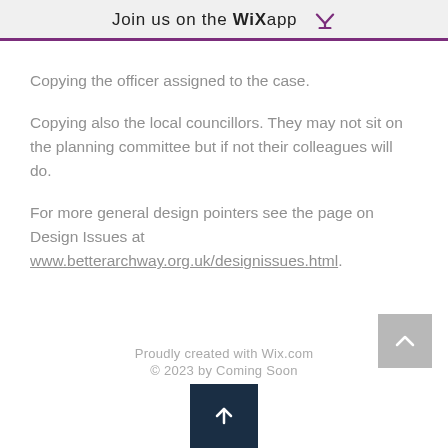Join us on the WiX app
Copying the officer assigned to the case.
Copying also the local councillors. They may not sit on the planning committee but if not their colleagues will do.
For more general design pointers see the page on Design Issues at www.betterarchway.org.uk/designissues.html.
Proudly created with Wix.com
© 2023 by Coming Soon